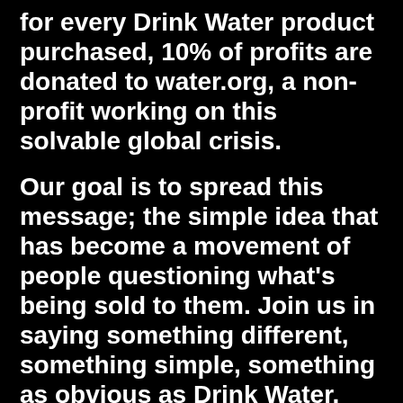for every Drink Water product purchased, 10% of profits are donated to water.org, a non-profit working on this solvable global crisis.
Our goal is to spread this message; the simple idea that has become a movement of people questioning what’s being sold to them. Join us in saying something different, something simple, something as obvious as Drink Water.
Austin & Bryan